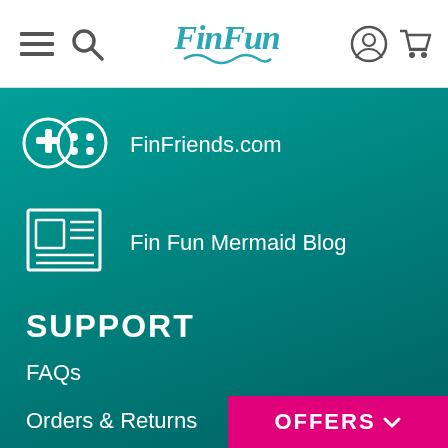FinFun navigation bar with hamburger menu, search, logo, profile, and cart icons
FinFriends.com
Fin Fun Mermaid Blog
SUPPORT
FAQs
Orders & Returns
Shipping & Tracking
Warranty
Size Charts
Contact Us
OFFERS